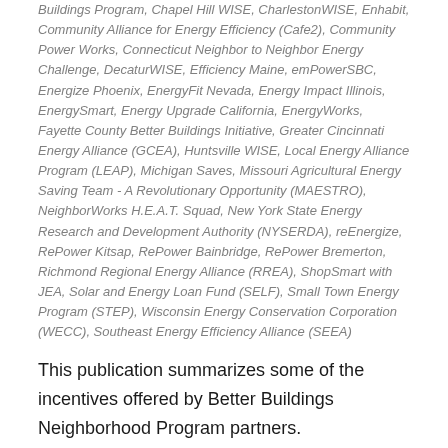Buildings Program, Chapel Hill WISE, CharlestonWISE, Enhabit, Community Alliance for Energy Efficiency (Cafe2), Community Power Works, Connecticut Neighbor to Neighbor Energy Challenge, DecaturWISE, Efficiency Maine, emPowerSBC, Energize Phoenix, EnergyFit Nevada, Energy Impact Illinois, EnergySmart, Energy Upgrade California, EnergyWorks, Fayette County Better Buildings Initiative, Greater Cincinnati Energy Alliance (GCEA), Huntsville WISE, Local Energy Alliance Program (LEAP), Michigan Saves, Missouri Agricultural Energy Saving Team - A Revolutionary Opportunity (MAESTRO), NeighborWorks H.E.A.T. Squad, New York State Energy Research and Development Authority (NYSERDA), reEnergize, RePower Kitsap, RePower Bainbridge, RePower Bremerton, Richmond Regional Energy Alliance (RREA), ShopSmart with JEA, Solar and Energy Loan Fund (SELF), Small Town Energy Program (STEP), Wisconsin Energy Conservation Corporation (WECC), Southeast Energy Efficiency Alliance (SEEA)
This publication summarizes some of the incentives offered by Better Buildings Neighborhood Program partners.
RESOURCE - PUBLICATIONS
Impact Evaluation of 2014 EnergyWise Single